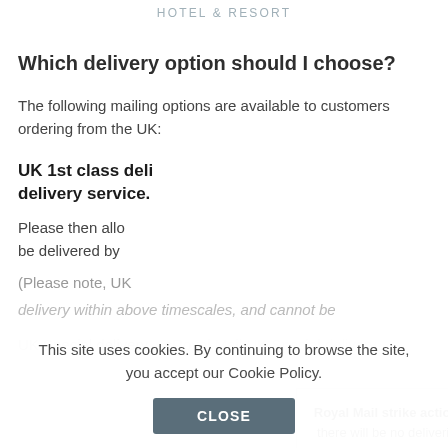HOTEL & RESORT
Which delivery option should I choose?
The following mailing options are available to customers ordering from the UK:
UK 1st class deli delivery service.
Please then allo be delivered by
(Please note, UK
delivery within above timescales, and cannot be
Royal Mail strike action - there will be no deliveries or collections of postal vouchers on the 26th and 31st August. If you need your gift voucher sent immediately please choose email delivery.
This site uses cookies. By continuing to browse the site, you accept our Cookie Policy.
UK Special delivery - s Royal Mail UK Special delivery.